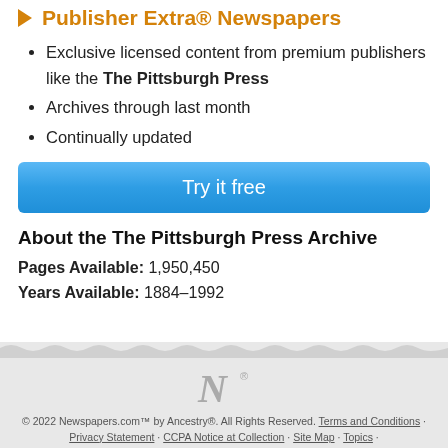Publisher Extra® Newspapers
Exclusive licensed content from premium publishers like the The Pittsburgh Press
Archives through last month
Continually updated
Try it free
About the The Pittsburgh Press Archive
Pages Available:  1,950,450
Years Available:  1884–1992
© 2022 Newspapers.com™ by Ancestry®. All Rights Reserved. Terms and Conditions · Privacy Statement · CCPA Notice at Collection · Site Map · Topics ·